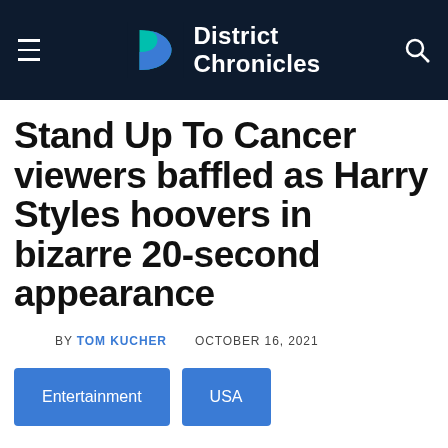District Chronicles
Stand Up To Cancer viewers baffled as Harry Styles hoovers in bizarre 20-second appearance
BY TOM KUCHER   OCTOBER 16, 2021
Entertainment   USA